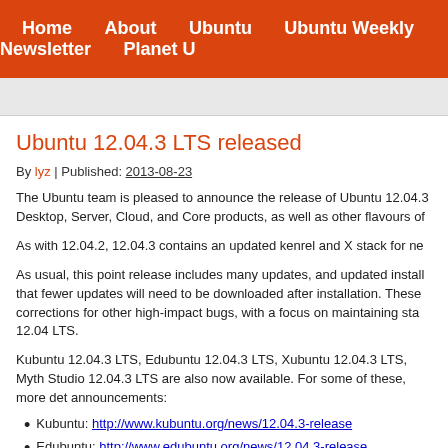Home | About | Ubuntu | Ubuntu Weekly Newsletter | Planet U
Ubuntu 12.04.3 LTS released
By lyz | Published: 2013-08-23
The Ubuntu team is pleased to announce the release of Ubuntu 12.04.3 Desktop, Server, Cloud, and Core products, as well as other flavours of
As with 12.04.2, 12.04.3 contains an updated kernel and X stack for ne
As usual, this point release includes many updates, and updated install that fewer updates will need to be downloaded after installation. These corrections for other high-impact bugs, with a focus on maintaining sta 12.04 LTS.
Kubuntu 12.04.3 LTS, Edubuntu 12.04.3 LTS, Xubuntu 12.04.3 LTS, Myth Studio 12.04.3 LTS are also now available. For some of these, more det announcements:
Kubuntu: http://www.kubuntu.org/news/12.04.3-release
Edubuntu: http://www.edubuntu.org/news/12.04.3-release
Mythbuntu: http://www.mythbuntu.org/home/news/12043released
Ubuntu Studio: http://ubuntustudio.org/2013/08/ubuntu-stu...